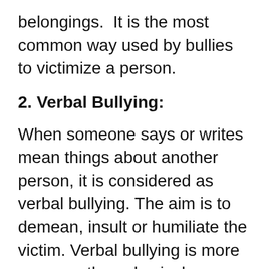belongings.  It is the most common way used by bullies to victimize a person.
2. Verbal Bullying:
When someone says or writes mean things about another person, it is considered as verbal bullying. The aim is to demean, insult or humiliate the victim. Verbal bullying is more common than physical bullying. It is often more persistent than physical bullying as it can be done even when physically we are not in the same space. It can also be done without anyone noticing it. I can speak in soft tones and bully you. No one will be able to notice it. In physical bullying, we need to be